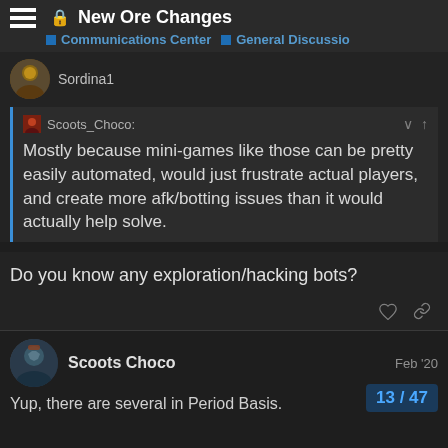New Ore Changes | Communications Center | General Discussio
Sordina1
Scoots_Choco: Mostly because mini-games like those can be pretty easily automated, would just frustrate actual players, and create more afk/botting issues than it would actually help solve.
Do you know any exploration/hacking bots?
Scoots Choco  Feb '20
Yup, there are several in Period Basis.
13 / 47